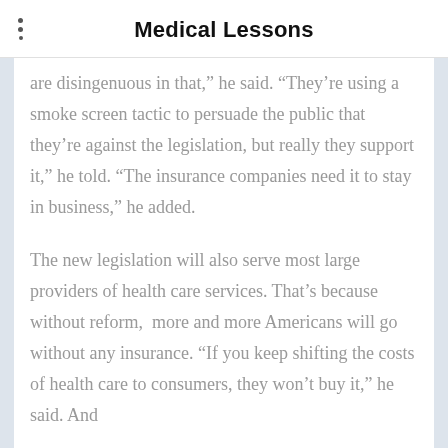Medical Lessons
are disingenuous in that," he said. “They’re using a smoke screen tactic to persuade the public that they’re against the legislation, but really they support it,” he told. “The insurance companies need it to stay in business,” he added.
The new legislation will also serve most large providers of health care services. That’s because without reform,  more and more Americans will go without any insurance. “If you keep shifting the costs of health care to consumers, they won’t buy it,” he said. And